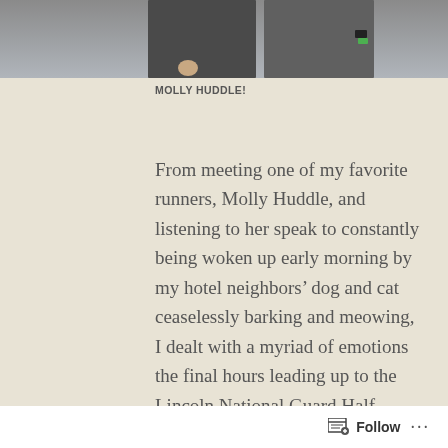[Figure (photo): Photo of two people standing side by side, partially cropped, showing torsos and hands. Blue-gray background.]
MOLLY HUDDLE!
From meeting one of my favorite runners, Molly Huddle, and listening to her speak to constantly being woken up early morning by my hotel neighbors’ dog and cat ceaselessly barking and meowing, I dealt with a myriad of emotions the final hours leading up to the Lincoln National Guard Half Marathon on May 6, 2018. I had run this exact race a couple of years previously and knew what to expect, except two years ago I endured cold and rain and this year I
Follow ...